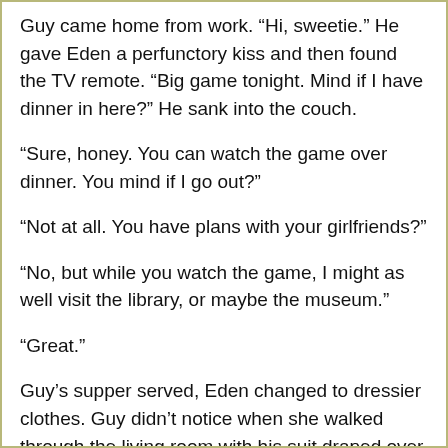Guy came home from work. “Hi, sweetie.” He gave Eden a perfunctory kiss and then found the TV remote. “Big game tonight. Mind if I have dinner in here?” He sank into the couch.
“Sure, honey. You can watch the game over dinner. You mind if I go out?”
“Not at all. You have plans with your girlfriends?”
“No, but while you watch the game, I might as well visit the library, or maybe the museum.”
“Great.”
Guy’s supper served, Eden changed to dressier clothes. Guy didn’t notice when she walked through the living room with his suit draped over her arm. Already the announcer’s voice boomed game statistics and predictions over rousing music.
In the kitchen, she pulled the snake from the cookie jar. It